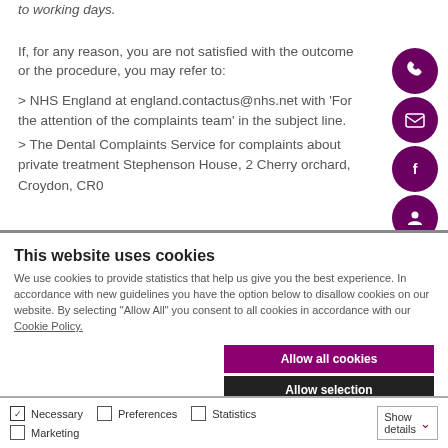to working days.
If, for any reason, you are not satisfied with the outcome or the procedure, you may refer to:
> NHS England at england.contactus@nhs.net with ‘For the attention of the complaints team’ in the subject line.
> The Dental Complaints Service for complaints about private treatment Stephenson House, 2 Cherry orchard, Croydon, CR0
This website uses cookies
We use cookies to provide statistics that help us give you the best experience. In accordance with new guidelines you have the option below to disallow cookies on our website. By selecting “Allow All” you consent to all cookies in accordance with our Cookie Policy.
Allow all cookies
Allow selection
Use necessary cookies only
Necessary  Preferences  Statistics  Marketing  Show details